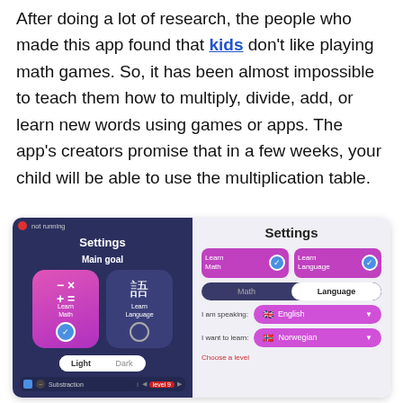After doing a lot of research, the people who made this app found that kids don't like playing math games. So, it has been almost impossible to teach them how to multiply, divide, add, or learn new words using games or apps. The app's creators promise that in a few weeks, your child will be able to use the multiplication table.
[Figure (screenshot): App screenshot showing Settings screen split into two panels: left panel (dark blue) shows 'Settings' heading, 'Main goal' subheading, two cards 'Learn Math' (selected) and 'Learn Language', a Light/Dark toggle, and a Substraction level 9 row. Right panel (light gray) shows 'Settings' heading, two purple goal buttons (Learn Math, Learn Language both checked), a Math/Language tab (Language selected), dropdowns for 'I am speaking: English' and 'I want to learn: Norwegian', and 'Choose a level' text.]